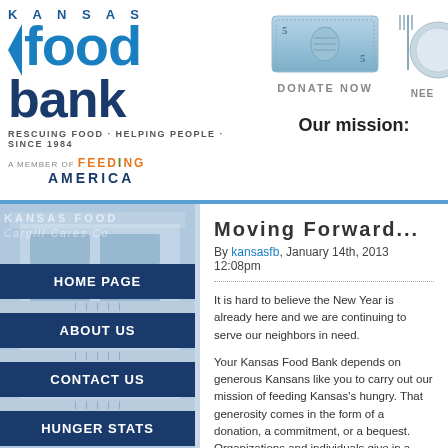[Figure (logo): Kansas Food Bank logo with blue food and dark blue bank text, arrow icon]
RESCUING FOOD · HELPING PEOPLE · SINCE 1984
A MEMBER OF FEEDING AMERICA
[Figure (illustration): Five dollar bill illustration for Donate Now button]
DONATE NOW
[Figure (illustration): Fork and plate illustration for Need button]
NEE
Our mission:
[Figure (photo): Kansas Food Bank Cargill Cares Co building exterior photo in blue tones]
KANSAS FOOD
Cargill Cares Co
HOME PAGE
ABOUT US
CONTACT US
HUNGER STATS
HOW TO HELP
PROGRAMS
Moving Forward...
By kansasfb, January 14th, 2013 12:08pm
It is hard to believe the New Year is already here and we are continuing to serve our neighbors in need.
Your Kansas Food Bank depends on generous Kansans like you to carry out our mission of feeding Kansas's hungry. That generosity comes in the form of a donation, a commitment, or a bequest. Organizations and individuals give in a variety of ways that Kansans contribute each year. Thanks to this generosity for you, the Kansas Food Bank is able to serve all of
Peoples' biggest misconception is that their small donation can't make a difference, but nothing could be further from the truth. Every dollar provides meals to families in need. In 2012, we distributed over 16 million pounds of emergency food assistance.
Every dollar, every can of food, is one more family fed. We offer our most heartfelt Thank You to all of those whose